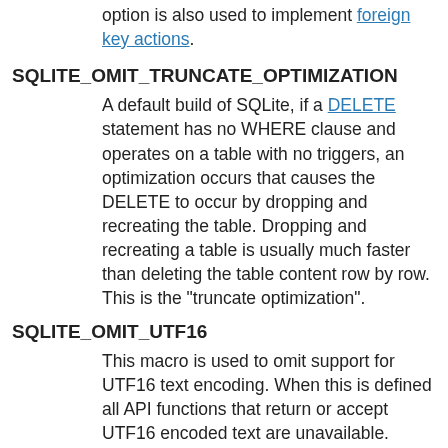option is also used to implement foreign key actions.
SQLITE_OMIT_TRUNCATE_OPTIMIZATION
A default build of SQLite, if a DELETE statement has no WHERE clause and operates on a table with no triggers, an optimization occurs that causes the DELETE to occur by dropping and recreating the table. Dropping and recreating a table is usually much faster than deleting the table content row by row. This is the "truncate optimization".
SQLITE_OMIT_UTF16
This macro is used to omit support for UTF16 text encoding. When this is defined all API functions that return or accept UTF16 encoded text are unavailable. These functions can be identified by the fact that they end with '16', for example sqlite3_prepare16(), sqlite3_column_text16() and sqlite3_bind_text16().
SQLITE_OMIT_VACUUM